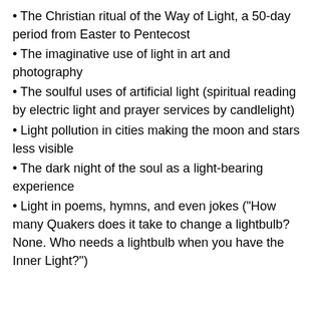The Christian ritual of the Way of Light, a 50-day period from Easter to Pentecost
The imaginative use of light in art and photography
The soulful uses of artificial light (spiritual reading by electric light and prayer services by candlelight)
Light pollution in cities making the moon and stars less visible
The dark night of the soul as a light-bearing experience
Light in poems, hymns, and even jokes ("How many Quakers does it take to change a lightbulb? None. Who needs a lightbulb when you have the Inner Light?")